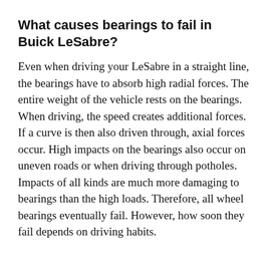What causes bearings to fail in Buick LeSabre?
Even when driving your LeSabre in a straight line, the bearings have to absorb high radial forces. The entire weight of the vehicle rests on the bearings. When driving, the speed creates additional forces. If a curve is then also driven through, axial forces occur. High impacts on the bearings also occur on uneven roads or when driving through potholes. Impacts of all kinds are much more damaging to bearings than the high loads. Therefore, all wheel bearings eventually fail. However, how soon they fail depends on driving habits.